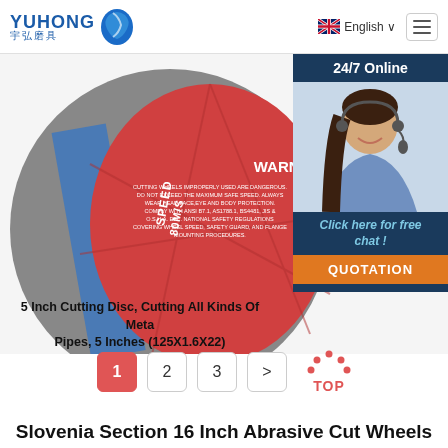YUHONG 宇弘磨具 | English
[Figure (photo): Close-up of a 5 inch red/blue cutting disc with WARNING label and barcode, SPEED 80M/S text visible]
[Figure (infographic): 24/7 Online chat widget with customer service representative photo, 'Click here for free chat!' text, and QUOTATION button]
5 Inch Cutting Disc, Cutting All Kinds Of Metal Pipes, 5 Inches (125X1.6X22)
1
2
3
>
Slovenia Section 16 Inch Abrasive Cut Wheels